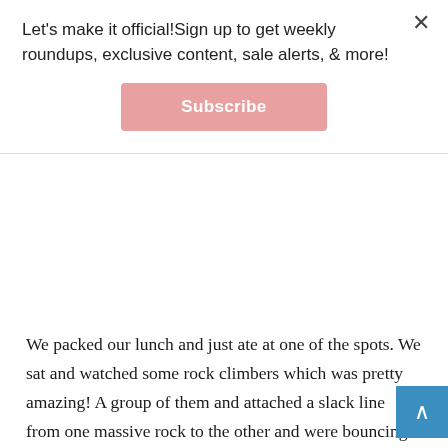Let's make it official!Sign up to get weekly roundups, exclusive content, sale alerts, & more!
Subscribe
We packed our lunch and just ate at one of the spots. We sat and watched some rock climbers which was pretty amazing! A group of them and attached a slack line from one massive rock to the other and were bouncing around in the air! Some other helpful things to know is there are picnic tables and bathrooms scattered all over the park. It’s super helpful to get the map when you enter so you can see all the different sights to see as well as the bathrooms. You’ll definitely want to bring in food and water since that isn’t sold inside the park. There are plenty of places right outside of the national park to get food though